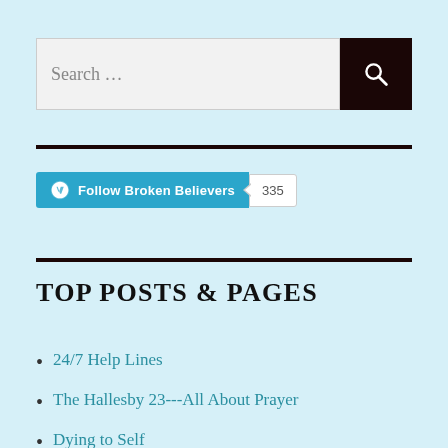[Figure (other): Search bar with text input showing 'Search ...' and a dark brown button with a magnifying glass icon]
[Figure (other): WordPress Follow button for 'Broken Believers' with follower count badge showing 335]
TOP POSTS & PAGES
24/7 Help Lines
The Hallesby 23---All About Prayer
Dying to Self